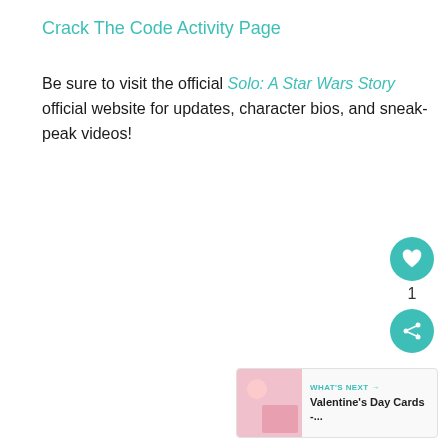Crack The Code Activity Page
Be sure to visit the official Solo: A Star Wars Story official website for updates, character bios, and sneak-peak videos!
[Figure (infographic): Heart/like button (teal circle with heart icon), count of 1, and share button (teal circle with share icon)]
[Figure (infographic): What's Next panel with pink image thumbnail and text: WHAT'S NEXT → Valentine's Day Cards -...]